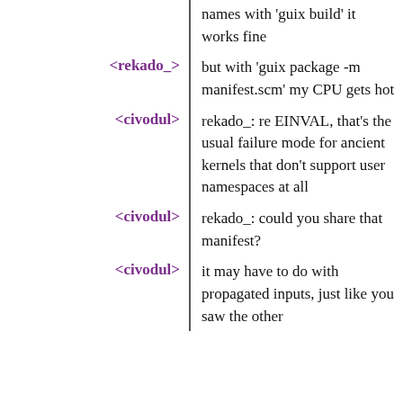names with 'guix build' it works fine
<rekado_> but with 'guix package -m manifest.scm' my CPU gets hot
<civodul> rekado_: re EINVAL, that's the usual failure mode for ancient kernels that don't support user namespaces at all
<civodul> rekado_: could you share that manifest?
<civodul> it may have to do with propagated inputs, just like you saw the other